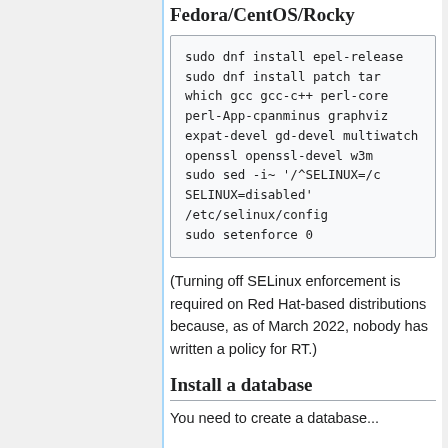Fedora/CentOS/Rocky
sudo dnf install epel-release
sudo dnf install patch tar which gcc gcc-c++ perl-core perl-App-cpanminus graphviz expat-devel gd-devel multiwatch openssl openssl-devel w3m
sudo sed -i~ '/^SELINUX=/c SELINUX=disabled' /etc/selinux/config
sudo setenforce 0
(Turning off SELinux enforcement is required on Red Hat-based distributions because, as of March 2022, nobody has written a policy for RT.)
Install a database
You need to create a database...